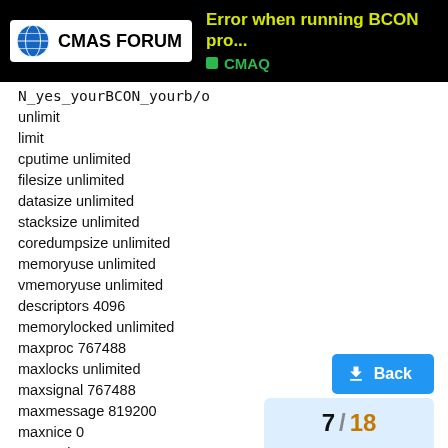Error when running BCON pro... | CMAS FORUM | CMAQ
N_yes_yourBCON_yourb/o
unlimit
limit
cputime unlimited
filesize unlimited
datasize unlimited
stacksize unlimited
coredumpsize unlimited
memoryuse unlimited
vmemoryuse unlimited
descriptors 4096
memorylocked unlimited
maxproc 767488
maxlocks unlimited
maxsignal 767488
maxmessage 819200
maxnice 0
maxrtprio 0
maxrttime unlimited
/path/from/your/CMAQ_5.0/PREP/